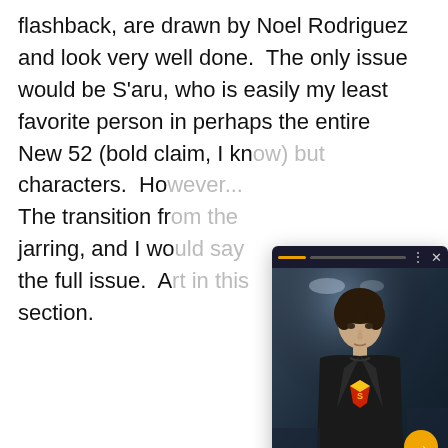flashback, are drawn by Noel Rodriguez and look very well done.  The only issue would be S'aru, who is easily my least favorite person in perhaps the entire New 52 (bold claim, I kn... characters.  Ho... The transition fr... jarring, and I wo... the full issue.  A... section.
[Figure (screenshot): A popup/overlay card showing a young man in a black leather jacket with a Superman logo t-shirt underneath, in a dark scene. The card has a top bar with progress indicator, three-dot menu and X close button, a yellow circular arrow button, and a caption reading 'Jonathan Kent to berecast on... & Lois']